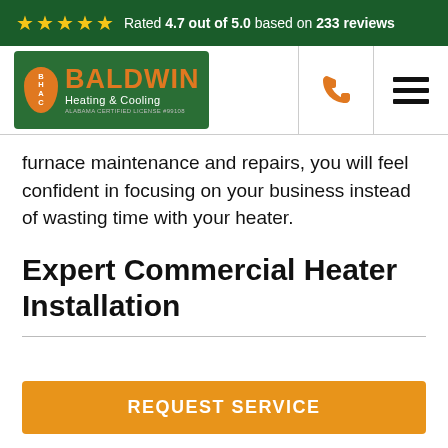Rated 4.7 out of 5.0 based on 233 reviews
[Figure (logo): Baldwin Heating & Cooling logo with BHAC badge and Alabama Certified License text]
furnace maintenance and repairs, you will feel confident in focusing on your business instead of wasting time with your heater.
Expert Commercial Heater Installation
REQUEST SERVICE